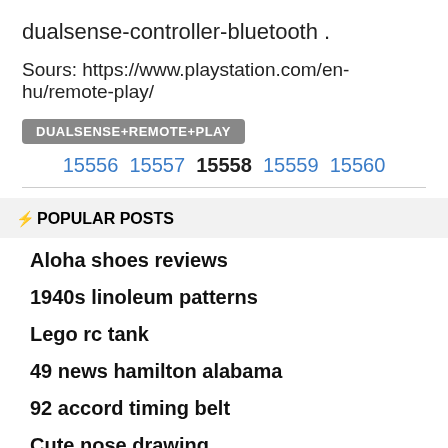dualsense-controller-bluetooth .
Sours: https://www.playstation.com/en-hu/remote-play/
DUALSENSE+REMOTE+PLAY
15556 15557 15558 15559 15560
⚡ POPULAR POSTS
Aloha shoes reviews
1940s linoleum patterns
Lego rc tank
49 news hamilton alabama
92 accord timing belt
Cute nose drawing
Volkswagen transmission problem